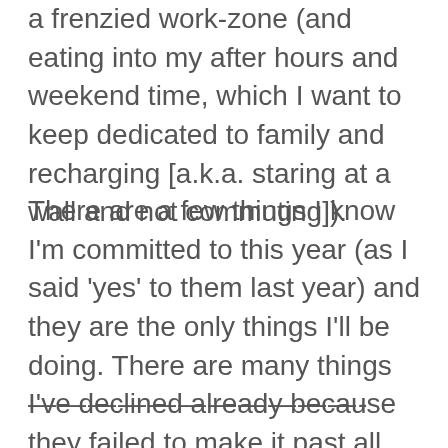a frenzied work-zone (and eating into my after hours and weekend time, which I want to keep dedicated to family and recharging [a.k.a. staring at a wall and not commuting]).
There are a few things I know I'm committed to this year (as I said 'yes' to them last year) and they are the only things I'll be doing. There are many things I've declined already because they failed to make it past all questions.
———————————-